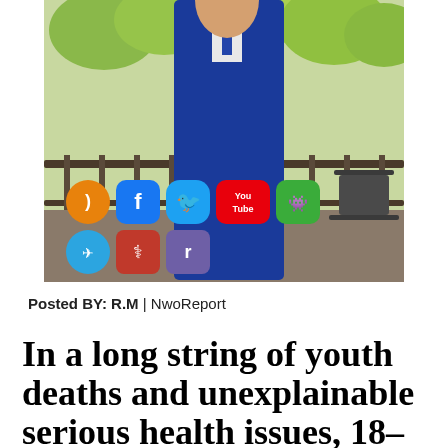[Figure (photo): A man in a blue suit standing on an outdoor deck with trees in the background, with social media icons overlaid in the lower left corner of the image]
Posted BY: R.M | NwoReport
In a long string of youth deaths and unexplainable serious health issues, 18-